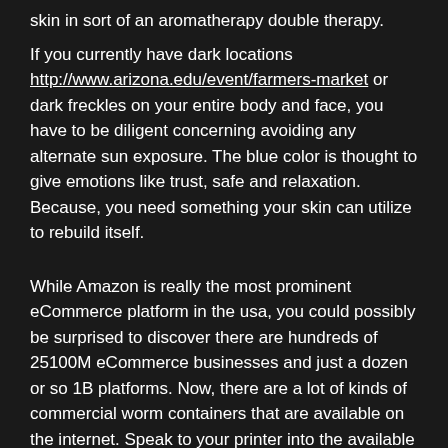skin in sort of an aromatherapy double therapy.
If you currently have dark locations http://www.arizona.edu/event/farmers-market or dark freckles on your entire body and face, you have to be diligent concerning avoiding any alternate sun exposure. The blue color is thought to give emotions like trust, safe and relaxation. Because, you need something your skin can utilize to rebuild itself.
While Amazon is really the most prominent eCommerce platform in the usa, you could possibly be surprised to discover there are hundreds of 25100M eCommerce businesses and just a dozen or so 1B platforms. Now, there are a lot of kinds of commercial worm containers that are available on the internet. Speak to your printer into the available options you've got and receive the boxes finished as per your requirements and liking.